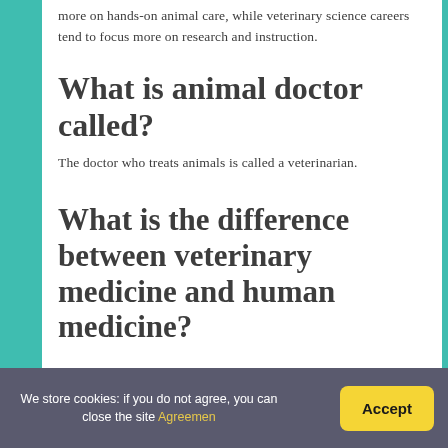more on hands-on animal care, while veterinary science careers tend to focus more on research and instruction.
What is animal doctor called?
The doctor who treats animals is called a veterinarian.
What is the difference between veterinary medicine and human medicine?
We store cookies: if you do not agree, you can close the site Agreemen
Accept